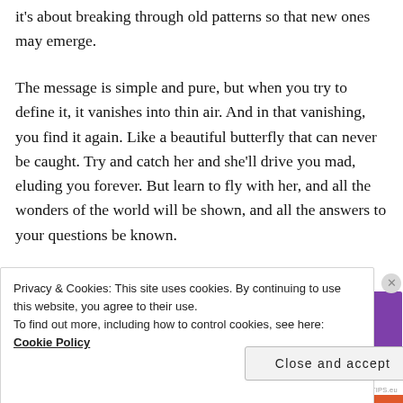it's about breaking through old patterns so that new ones may emerge.
The message is simple and pure, but when you try to define it, it vanishes into thin air. And in that vanishing, you find it again. Like a beautiful butterfly that can never be caught. Try and catch her and she'll drive you mad, eluding you forever. But learn to fly with her, and all the wonders of the world will be shown, and all the answers to your questions be known.
Advertisements
[Figure (other): WooCommerce advertisement banner with purple background]
Privacy & Cookies: This site uses cookies. By continuing to use this website, you agree to their use.
To find out more, including how to control cookies, see here: Cookie Policy
Close and accept
AIRPORT-TIPS.eu